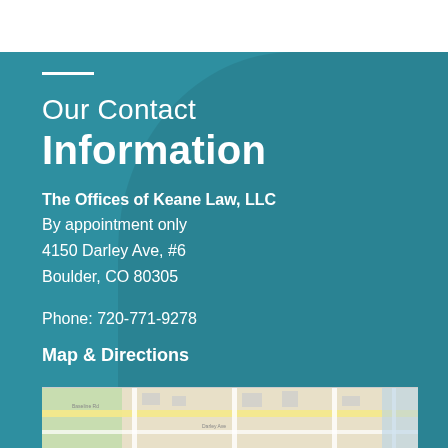Our Contact Information
The Offices of Keane Law, LLC
By appointment only
4150 Darley Ave, #6
Boulder, CO 80305
Phone: 720-771-9278
Map & Directions
[Figure (map): Street map showing location near 4150 Darley Ave, Boulder CO 80305]